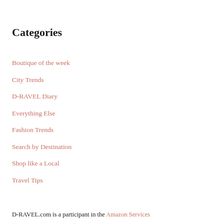Categories
Boutique of the week
City Trends
D-RAVEL Diary
Everything Else
Fashion Trends
Search by Destination
Shop like a Local
Travel Tips
D-RAVEL.com is a participant in the Amazon Services